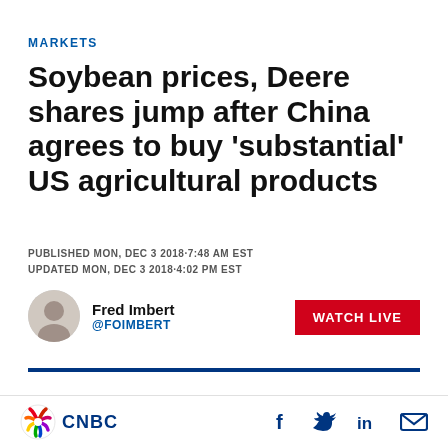MARKETS
Soybean prices, Deere shares jump after China agrees to buy 'substantial' US agricultural products
PUBLISHED MON, DEC 3 2018·7:48 AM EST
UPDATED MON, DEC 3 2018·4:02 PM EST
Fred Imbert
@FOIMBERT
WATCH LIVE
KEY POINTS
CNBC | social share icons